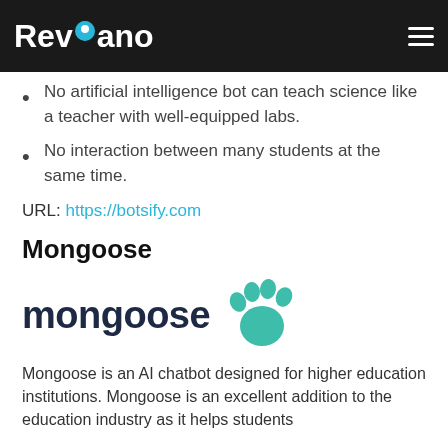Revvano
No artificial intelligence bot can teach science like a teacher with well-equipped labs.
No interaction between many students at the same time.
URL: https://botsify.com
Mongoose
[Figure (logo): Mongoose logo: dark navy bold wordmark 'mongoose' with a teal paw print icon to the right]
Mongoose is an AI chatbot designed for higher education institutions. Mongoose is an excellent addition to the education industry as it helps students